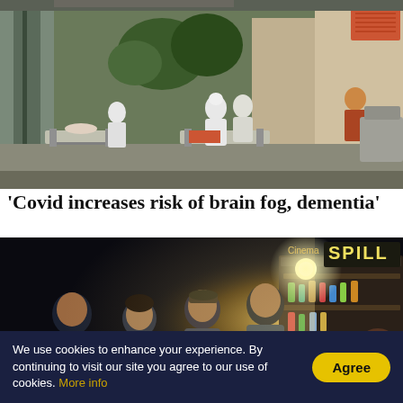[Figure (photo): Outdoor hospital scene with patients on beds/stretchers and medical workers in PPE suits attending to them, near a building with trees in background. Daytime setting.]
'Covid increases risk of brain fog, dementia'
[Figure (photo): Group of young people standing in darkness looking at a brightly lit street food stall at night. Sign in background reads 'SPILL'.]
We use cookies to enhance your experience. By continuing to visit our site you agree to our use of cookies. More info